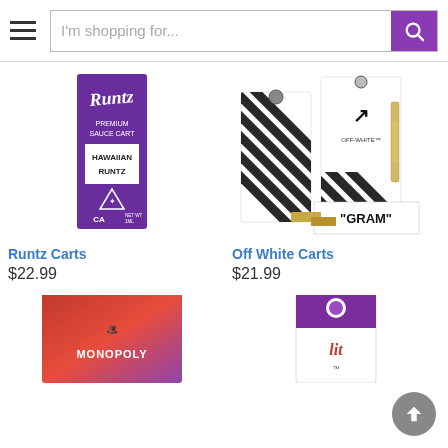I'm shopping for...
[Figure (photo): Runtz Carts product - purple box labeled Hawaiian Runtz, Premium Sauce Cart, CA]
Runtz Carts
$22.99
[Figure (photo): Off White Carts product - black and white striped packaging with GRAM label and vape cartridges]
Off White Carts
$21.99
[Figure (photo): Monopoly branded product box, partially visible at bottom left]
[Figure (photo): Lit branded product, purple and white packaging, partially visible at bottom right]